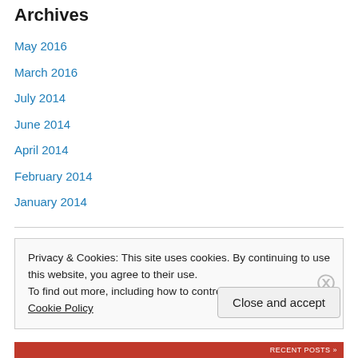Archives
May 2016
March 2016
July 2014
June 2014
April 2014
February 2014
January 2014
Categories
links
Privacy & Cookies: This site uses cookies. By continuing to use this website, you agree to their use.
To find out more, including how to control cookies, see here: Cookie Policy
Close and accept